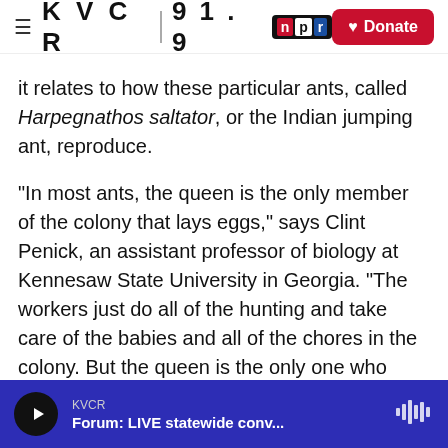KVCR 91.9 NPR | Donate
it relates to how these particular ants, called Harpegnathos saltator, or the Indian jumping ant, reproduce.
"In most ants, the queen is the only member of the colony that lays eggs," says Clint Penick, an assistant professor of biology at Kennesaw State University in Georgia. "The workers just do all of the hunting and take care of the babies and all of the chores in the colony. But the queen is the only one who reproduces. And when she dies, the colony dies."
Not so for this type of ant, native to India. Their
KVCR | Forum: LIVE statewide conv...